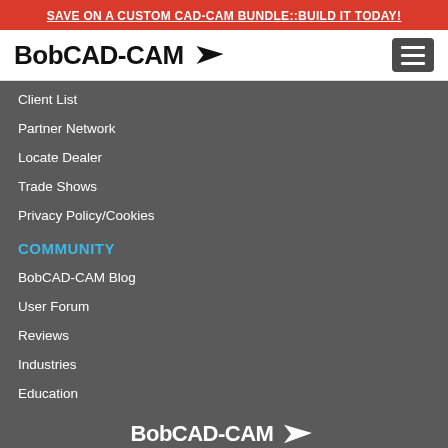SAVE ON A CUSTOM CAD-CAM BUNDLE::BUILD IT TODAY!
[Figure (logo): BobCAD-CAM logo with stylized bird/pen icon and hamburger menu button]
Client List
Partner Network
Locate Dealer
Trade Shows
Privacy Policy/Cookies
COMMUNITY
BobCAD-CAM Blog
User Forum
Reviews
Industries
Education
BobCAD-CAM © 2022 BobCAD-CAM, Inc. All Rights Reserved.